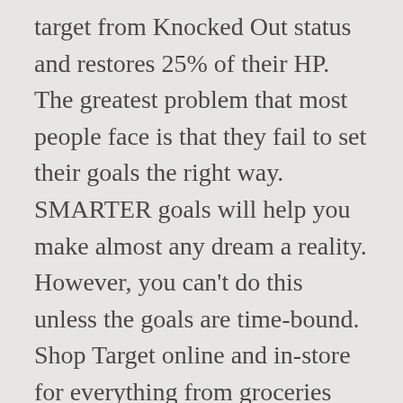target from Knocked Out status and restores 25% of their HP. The greatest problem that most people face is that they fail to set their goals the right way. SMARTER goals will help you make almost any dream a reality. However, you can't do this unless the goals are time-bound. Shop Target online and in-store for everything from groceries and essentials to clothing and electronics. An HR persona might be interested in blog content that addresses common pain points, while a CFO persona would be more interested in white papers with lots of data. It's a time for a fresh start. What to do about that Pleasant comic strip; 2020 Fall entertainment premium edition available; Election coverage from